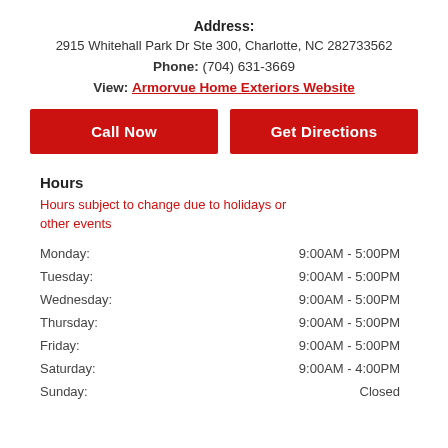Address:
2915 Whitehall Park Dr Ste 300, Charlotte, NC 282733562
Phone: (704) 631-3669
View: Armorvue Home Exteriors Website
Call Now
Get Directions
Hours
Hours subject to change due to holidays or other events
| Day | Hours |
| --- | --- |
| Monday: | 9:00AM - 5:00PM |
| Tuesday: | 9:00AM - 5:00PM |
| Wednesday: | 9:00AM - 5:00PM |
| Thursday: | 9:00AM - 5:00PM |
| Friday: | 9:00AM - 5:00PM |
| Saturday: | 9:00AM - 4:00PM |
| Sunday: | Closed |